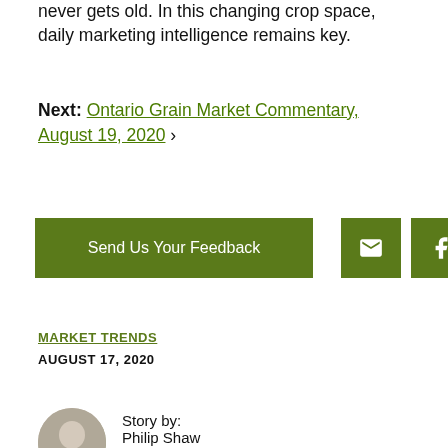never gets old. In this changing crop space, daily marketing intelligence remains key.
Next: Ontario Grain Market Commentary, August 19, 2020 ›
[Figure (other): Row of buttons: 'Send Us Your Feedback' green button, and three green icon buttons for email, Facebook, and Twitter]
MARKET TRENDS
AUGUST 17, 2020
Story by: Philip Shaw